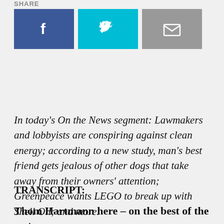SHARE
[Figure (infographic): Three social sharing buttons: Facebook (dark blue with f icon), Twitter (cyan with bird icon), Email (gray with envelope icon)]
In today's On the News segment: Lawmakers and lobbyists are conspiring against clean energy; according to a new study, man's best friend gets jealous of other dogs that take away from their owners' attention; Greenpeace wants LEGO to break up with Shell Oil; and more.
TRANSCRIPT:
Thom Hartmann here – on the best of the rest